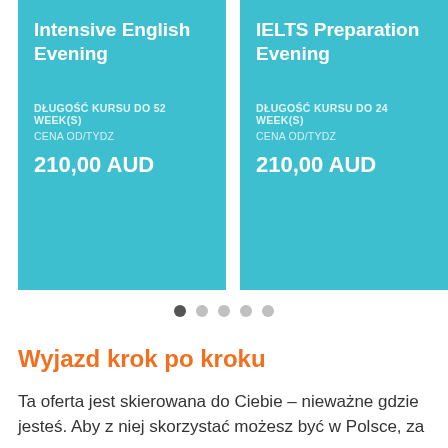[Figure (photo): Two course cards side by side on teal/turquoise background showing course info]
Intensive English Evening
DŁUGOŚĆ KURSU DO 52 WEEK(S)
CENA OD/TYDZ
210,00 AUD
IELTS Preparation Evening
DŁUGOŚĆ KURSU DO 24 WEEK(S)
CENA OD/TYDZ
210,00 AUD
Wyjazd krok po kroku
Ta oferta jest skierowana do Ciebie – nieważne gdzie jesteś. Aby z niej skorzystać możesz być w Polsce, za